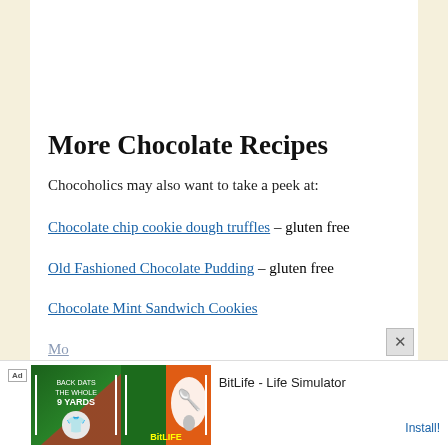More Chocolate Recipes
Chocoholics may also want to take a peek at:
Chocolate chip cookie dough truffles – gluten free
Old Fashioned Chocolate Pudding – gluten free
Chocolate Mint Sandwich Cookies
Mo…
[Figure (other): Ad banner for BitLife - Life Simulator app with Ad label, game imagery on left, app title and Install button on right]